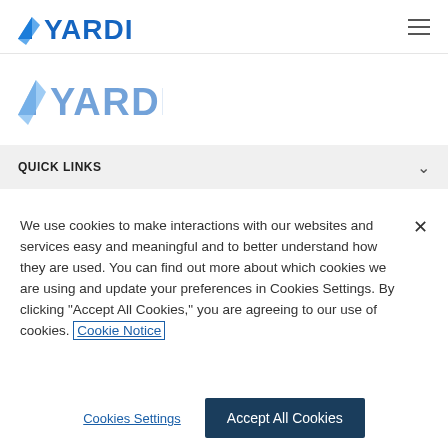[Figure (logo): Yardi logo in blue with stylized checkmark/arrow icon and bold YARDI text]
[Figure (logo): Partial Yardi logo visible in banner/content area below nav bar]
QUICK LINKS
We use cookies to make interactions with our websites and services easy and meaningful and to better understand how they are used. You can find out more about which cookies we are using and update your preferences in Cookies Settings. By clicking "Accept All Cookies," you are agreeing to our use of cookies. Cookie Notice
Cookies Settings
Accept All Cookies